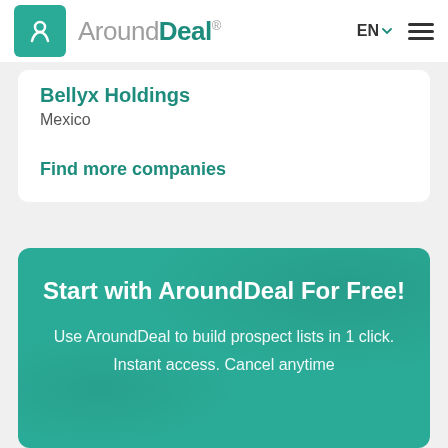AroundDeal — EN
Bellyx Holdings
Mexico
Find more companies
Start with AroundDeal For Free!
Use AroundDeal to build prospect lists in 1 click.
Instant access. Cancel anytime